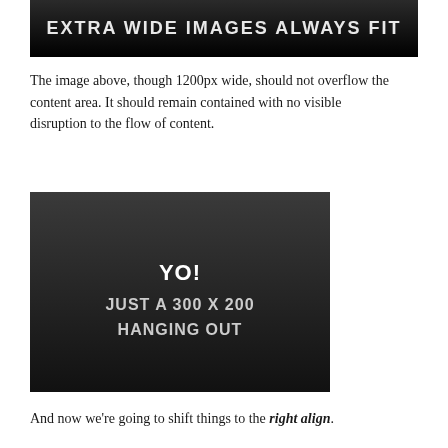[Figure (illustration): Dark/black banner image with white text reading 'EXTRA WIDE IMAGES ALWAYS FIT']
The image above, though 1200px wide, should not overflow the content area. It should remain contained with no visible disruption to the flow of content.
[Figure (illustration): Dark background image with white text reading 'YO! JUST A 300 X 200 HANGING OUT']
And now we're going to shift things to the right align.